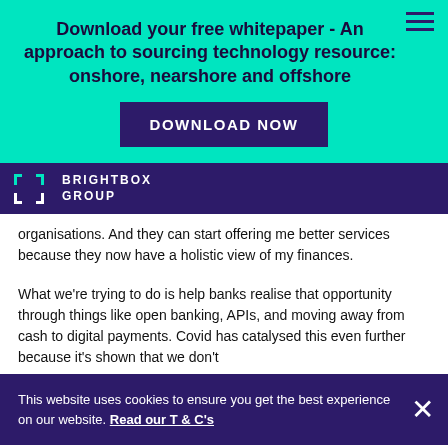Download your free whitepaper - An approach to sourcing technology resource: onshore, nearshore and offshore
DOWNLOAD NOW
[Figure (logo): Brightbox Group logo with teal bracket icon]
organisations. And they can start offering me better services because they now have a holistic view of my finances.
What we're trying to do is help banks realise that opportunity through things like open banking, APIs, and moving away from cash to digital payments. Covid has catalysed this even further because it's shown that we don't
This website uses cookies to ensure you get the best experience on our website. Read our T & C's
Post open banking, the biggest competitor of a bank is an